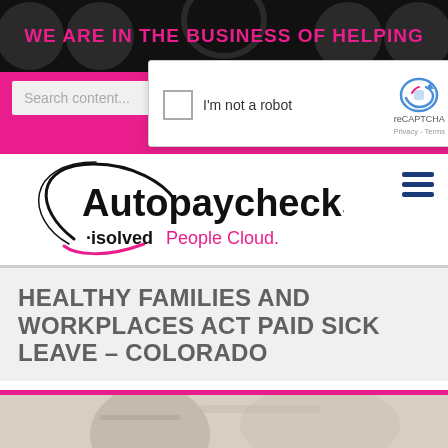WE ARE IN THE BUSINESS OF HELPING
[Figure (screenshot): Search bar with pink background and search icon]
[Figure (screenshot): reCAPTCHA widget: checkbox, I'm not a robot label, reCAPTCHA logo with Privacy and Terms links]
[Figure (logo): Autopaychecks logo with isolved People Cloud branding]
HEALTHY FAMILIES AND WORKPLACES ACT PAID SICK LEAVE – COLORADO
[Figure (photo): Blurred photo of office/desk items at bottom of page]